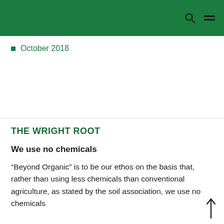October 2018
THE WRIGHT ROOT
We use no chemicals
“Beyond Organic” is to be our ethos on the basis that, rather than using less chemicals than conventional agriculture, as stated by the soil association, we use no chemicals